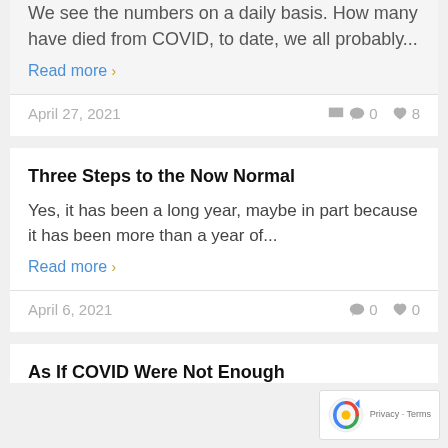We see the numbers on a daily basis.  How many have died from COVID, to date, we all probably...
Read more ›
April 27, 2021   💬0  ♥8
Three Steps to the Now Normal
Yes, it has been a long year, maybe in part because it has been more than a year of...
Read more ›
April 6, 2021   💬0  ♥0
As If COVID Were Not Enough